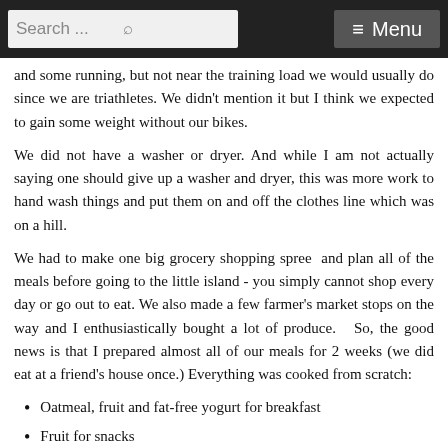Search ... ≡ Menu
and some running, but not near the training load we would usually do since we are triathletes. We didn't mention it but I think we expected to gain some weight without our bikes.
We did not have a washer or dryer. And while I am not actually saying one should give up a washer and dryer, this was more work to hand wash things and put them on and off the clothes line which was on a hill.
We had to make one big grocery shopping spree  and plan all of the meals before going to the little island - you simply cannot shop every day or go out to eat. We also made a few farmer's market stops on the way and I enthusiastically bought a lot of produce.  So, the good news is that I prepared almost all of our meals for 2 weeks (we did eat at a friend's house once.) Everything was cooked from scratch:
Oatmeal, fruit and fat-free yogurt for breakfast
Fruit for snacks